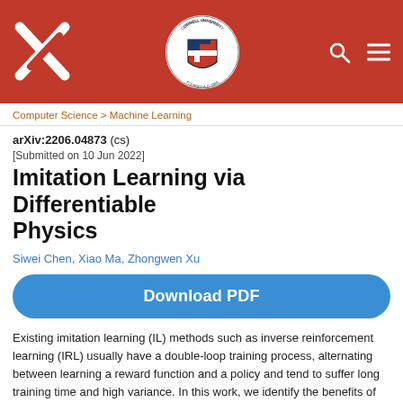[Figure (logo): arXiv and Cornell University header with logos, search and menu icons on red background]
Computer Science > Machine Learning
arXiv:2206.04873 (cs)
[Submitted on 10 Jun 2022]
Imitation Learning via Differentiable Physics
Siwei Chen, Xiao Ma, Zhongwen Xu
Download PDF
Existing imitation learning (IL) methods such as inverse reinforcement learning (IRL) usually have a double-loop training process, alternating between learning a reward function and a policy and tend to suffer long training time and high variance. In this work, we identify the benefits of differentiable physics simulators and propose a new IL method, i.e., Imitation Learning via Differentiable Physics (ILD), which gets rid of the double-loop design and achieves significant improvements in findings of accuracy, sample economy, and adaptability